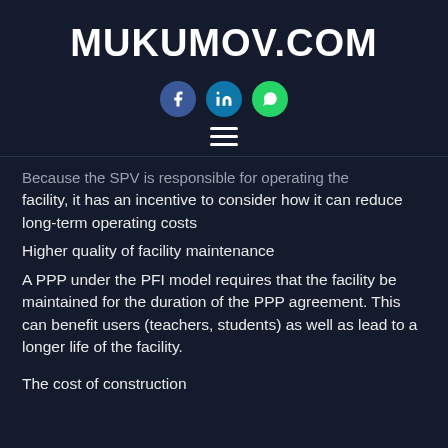MUKUMOV.COM
[Figure (infographic): Three social media icon circles: Facebook (blue), LinkedIn (teal/blue), WhatsApp (green)]
[Figure (infographic): Hamburger menu icon (three horizontal white bars)]
Because the SPV is responsible for operating the facility, it has an incentive to consider how it can reduce long-term operating costs
Higher quality of facility maintenance
A PPP under the PFI model requires that the facility be maintained for the duration of the PPP agreement. This can benefit users (teachers, students) as well as lead to a longer life of the facility.
The cost of construction